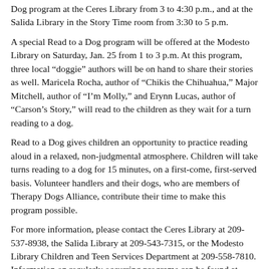Dog program at the Ceres Library from 3 to 4:30 p.m., and at the Salida Library in the Story Time room from 3:30 to 5 p.m.
A special Read to a Dog program will be offered at the Modesto Library on Saturday, Jan. 25 from 1 to 3 p.m. At this program, three local “doggie” authors will be on hand to share their stories as well. Maricela Rocha, author of “Chikis the Chihuahua,” Major Mitchell, author of “I’m Molly,” and Erynn Lucas, author of “Carson’s Story,” will read to the children as they wait for a turn reading to a dog.
Read to a Dog gives children an opportunity to practice reading aloud in a relaxed, non-judgmental atmosphere. Children will take turns reading to a dog for 15 minutes, on a first-come, first-served basis. Volunteer handlers and their dogs, who are members of Therapy Dogs Alliance, contribute their time to make this program possible.
For more information, please contact the Ceres Library at 209-537-8938, the Salida Library at 209-543-7315, or the Modesto Library Children and Teen Services Department at 209-558-7810. Information on regularly occurring programs can be found at Stanislaus Library, under the “Events and Classes” tab.